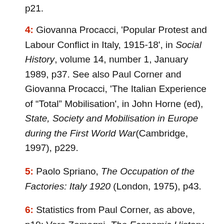p21.
4: Giovanna Procacci, 'Popular Protest and Labour Conflict in Italy, 1915-18', in Social History, volume 14, number 1, January 1989, p37. See also Paul Corner and Giovanna Procacci, 'The Italian Experience of “Total” Mobilisation', in John Horne (ed), State, Society and Mobilisation in Europe during the First World War(Cambridge, 1997), p229.
5: Paolo Spriano, The Occupation of the Factories: Italy 1920 (London, 1975), p43.
6: Statistics from Paul Corner, as above, p19; Vera Zamagni, The Economic History of Italy 1870-1990 (Oxford, 1993), p225; and Giovanna Procacci, 'Popular Protest', as above, p34.
7: Giovanna Procacci, 'Popular Protest', as above, p46.